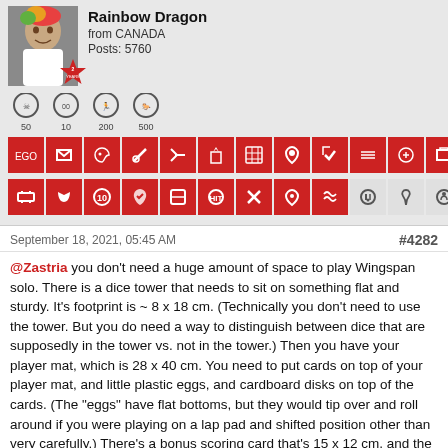[Figure (photo): User profile photo of Rainbow Dragon, a woman from Canada]
Rainbow Dragon
from CANADA
Posts: 5760
[Figure (infographic): Achievement badges with numbers 50, 10, 200, 500 and many red icon badges in two rows]
September 18, 2021, 05:45 AM
#4282
@Zastria you don't need a huge amount of space to play Wingspan solo. There is a dice tower that needs to sit on something flat and sturdy. It's footprint is ~ 8 x 18 cm. (Technically you don't need to use the tower. But you do need a way to distinguish between dice that are supposedly in the tower vs. not in the tower.) Then you have your player mat, which is 28 x 40 cm. You need to put cards on top of your player mat, and little plastic eggs, and cardboard disks on top of the cards. (The "eggs" have flat bottoms, but they would tip over and roll around if you were playing on a lap pad and shifted position other than very carefully.) There's a bonus scoring card that's 15 x 12 cm, and the bird card tray is ~ 14 x 27 cm. Plus you need space for a couple of card decks and discard piles, plus other bits and bobs. I play on a tiny desk that is 76 x 39 cm, but then I have the dice tower in the box lid on a stool beside me, and I collect all of the automa's bits and bobs in the box bottom, which is propped up on a little